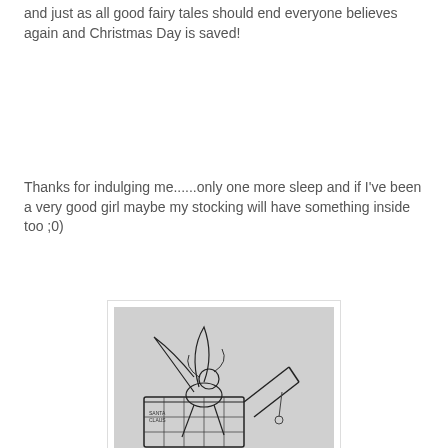and just as all good fairy tales should end everyone believes again and Christmas Day is saved!
Thanks for indulging me......only one more sleep and if I've been a very good girl maybe my stocking will have something inside too ;0)
[Figure (illustration): A pencil sketch illustration of a fairy or elf figure reclining in or emerging from a decorated Christmas stocking or box, with wings visible and small items around it.]